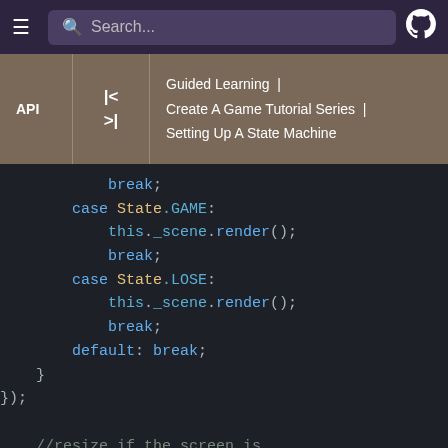Search... | GitHub
API | << | >> | Guided Learning | Create A Game Tutorial Series | Setting Up A State Machine
[Figure (screenshot): Code editor screenshot showing a switch statement with cases for State.GAME and State.LOSE, each calling this._scene.render() and break, followed by default: break, closing braces }); and a comment //resize if the screen is resized/rotated followed by window.addEventListener('resize',]
break;
        case State.GAME:
            this._scene.render();
            break;
        case State.LOSE:
            this._scene.render();
            break;
        default: break;
    }
});

    //resize if the screen is
resized/rotated
        window.addEventListener('resize',